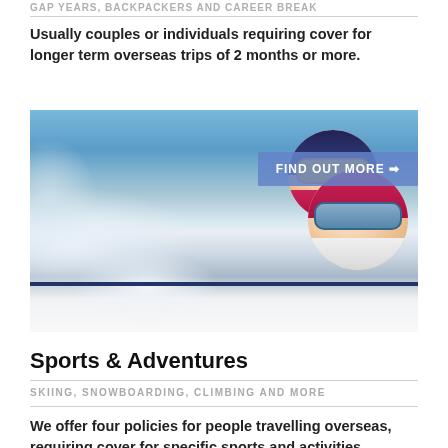GAP YEARS, BACKPACKERS AND CAREER BREAK
Usually couples or individuals requiring cover for longer term overseas trips of 2 months or more.
[Figure (photo): Photo of two skiers in colorful helmets and goggles against a snowy mountain background, with a 'FIND OUT MORE' button overlay]
Sports & Adventures
SKIING, SNOWBOARDING, CLIMBING AND MORE
We offer four policies for people travelling overseas, requiring cover for specific sports and activities.